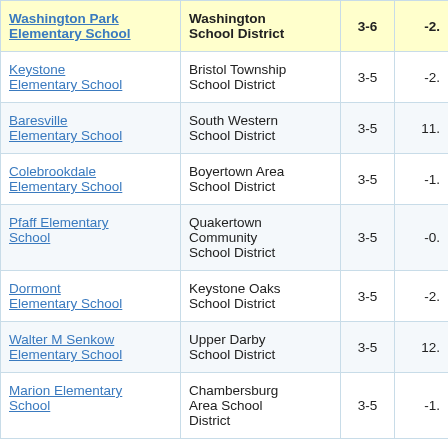| School | District | Grades | Value |
| --- | --- | --- | --- |
| Washington Park Elementary School | Washington School District | 3-6 | -2. |
| Keystone Elementary School | Bristol Township School District | 3-5 | -2. |
| Baresville Elementary School | South Western School District | 3-5 | 11. |
| Colebrookdale Elementary School | Boyertown Area School District | 3-5 | -1. |
| Pfaff Elementary School | Quakertown Community School District | 3-5 | -0. |
| Dormont Elementary School | Keystone Oaks School District | 3-5 | -2. |
| Walter M Senkow Elementary School | Upper Darby School District | 3-5 | 12. |
| Marion Elementary School | Chambersburg Area School District | 3-5 | -1. |